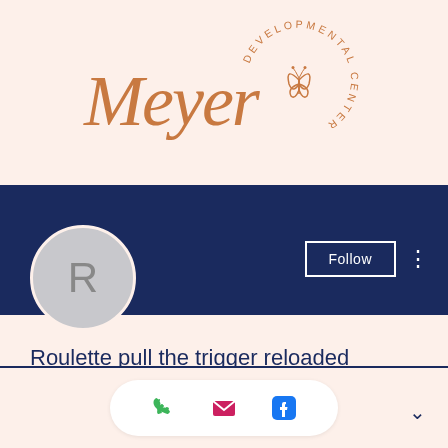[Figure (logo): Meyer Developmental Center logo — cursive 'Meyer' text in copper/rose gold color with a circular badge showing a butterfly and the words 'DEVELOPMENTAL CENTER' arranged in a circle]
[Figure (screenshot): Social media profile page UI with dark navy banner, circular avatar with letter R, Follow button, and three-dot menu]
Roulette pull the trigger reloaded
0 Followers • 0 Following
[Figure (infographic): Bottom action bar with white pill containing phone (green), email (pink/red), and Facebook (blue) icons, plus a chevron down arrow]